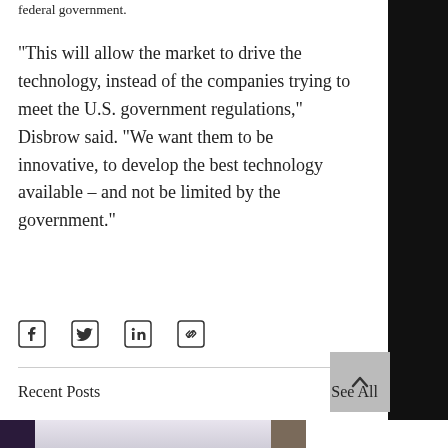federal government.
“This will allow the market to drive the technology, instead of the companies trying to meet the U.S. government regulations,” Disbrow said. “We want them to be innovative, to develop the best technology available – and not be limited by the government.”
[Figure (other): Social share icons: Facebook, Twitter, LinkedIn, and link/copy icons]
Recent Posts
See All
[Figure (photo): Bottom row of post thumbnail images: dark purple image on left, light grey/white image with metallic sculptural figures in center, brownish image on right edge]